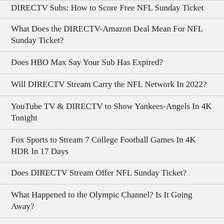DIRECTV Subs: How to Score Free NFL Sunday Ticket
What Does the DIRECTV-Amazon Deal Mean For NFL Sunday Ticket?
Does HBO Max Say Your Sub Has Expired?
Will DIRECTV Stream Carry the NFL Network In 2022?
YouTube TV & DIRECTV to Show Yankees-Angels In 4K Tonight
Fox Sports to Stream 7 College Football Games In 4K HDR In 17 Days
Does DIRECTV Stream Offer NFL Sunday Ticket?
What Happened to the Olympic Channel? Is It Going Away?